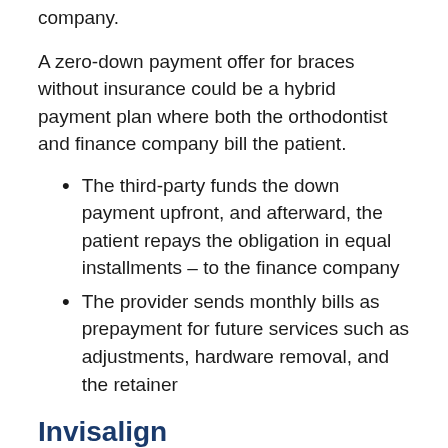company.
A zero-down payment offer for braces without insurance could be a hybrid payment plan where both the orthodontist and finance company bill the patient.
The third-party funds the down payment upfront, and afterward, the patient repays the obligation in equal installments – to the finance company
The provider sends monthly bills as prepayment for future services such as adjustments, hardware removal, and the retainer
Invisalign
Payment plans for Invisalign typically involve a